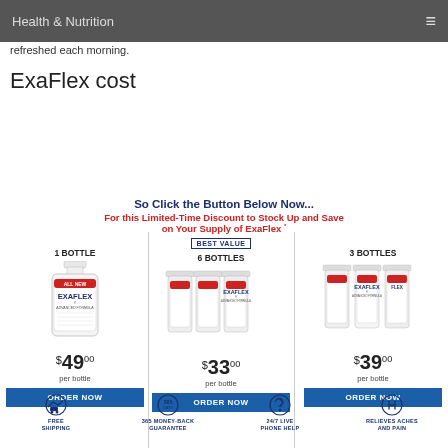Health & Nutrition
refreshed each morning.
ExaFlex cost
[Figure (infographic): ExaFlex supplement pricing promotional image showing 3 purchase options: 1 Bottle at $49.00/bottle, 6 Bottles (Best Value) at $33.00/bottle, 3 Bottles at $39.00/bottle, each with an ORDER NOW button. Includes icons for Free Shipping, 365 Money-Back Guarantee, 24/7 Live Phone Help, Relieves Aches and Pain.]
So Click the Button Below Now... For this Limited-Time Discount to Stock Up and Save on Your Supply of ExaFlex